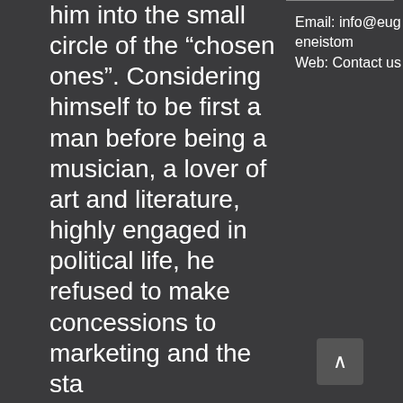him into the small circle of the “chosen ones”. Considering himself to be first a man before being a musician, a lover of art and literature, highly engaged in political life, he refused to make concessions to marketing and the sta
Email: info@eugeneistom Web: Contact us